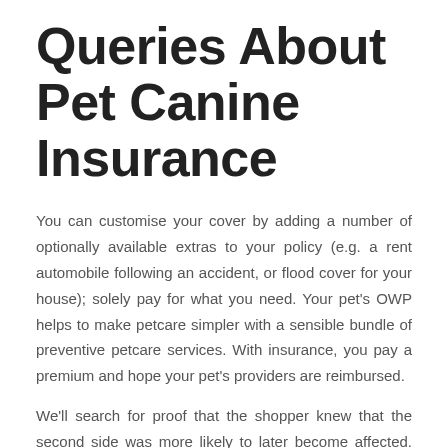Queries About Pet Canine Insurance
You can customise your cover by adding a number of optionally available extras to your policy (e.g. a rent automobile following an accident, or flood cover for your house); solely pay for what you need. Your pet's OWP helps to make petcare simpler with a sensible bundle of preventive petcare services. With insurance, you pay a premium and hope your pet's providers are reimbursed.
We'll search for proof that the shopper knew that the second side was more likely to later become affected. For example, someone may complain that you rejected a declare for a situation in their canine's left hip, which had featured in the last big 15 months before they took out the policy.